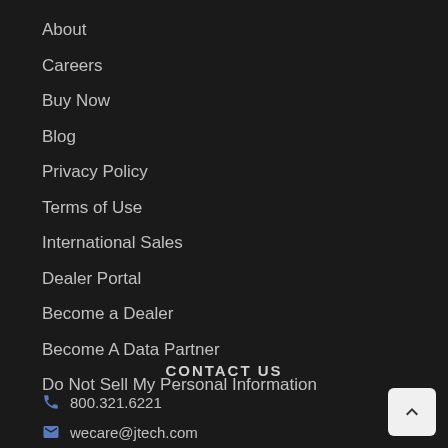About
Careers
Buy Now
Blog
Privacy Policy
Terms of Use
International Sales
Dealer Portal
Become a Dealer
Become A Data Partner
Do Not Sell My Personal Information
CONTACT US
800.321.6221
wecare@jtech.com